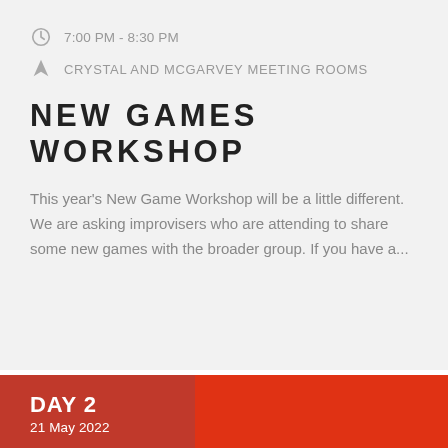7:00 PM - 8:30 PM
CRYSTAL AND MCGARVEY MEETING ROOMS
NEW GAMES WORKSHOP
This year's New Game Workshop will be a little different.  We are asking improvisers who are attending to share some new games with the broader group.  If you have a...
DAY 2
21 May 2022
7:30 AM - 8:30 AM